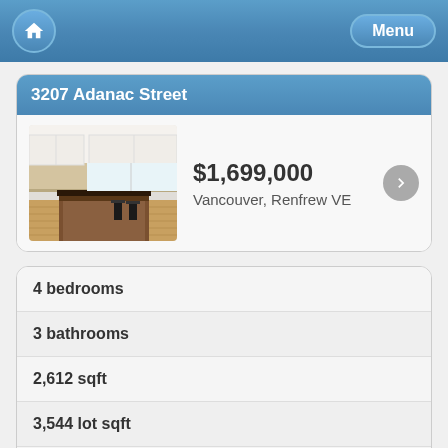Home | Menu
3207 Adanac Street
$1,699,000
Vancouver, Renfrew VE
4 bedrooms
3 bathrooms
2,612 sqft
3,544 lot sqft
built in 1912
$5,891 taxes in 2021
House